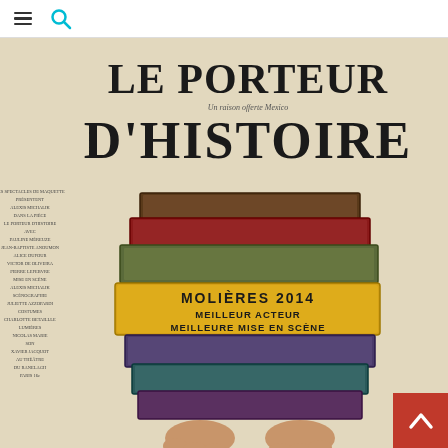Navigation header with hamburger menu and search icon
[Figure (illustration): Theatrical show poster for 'Le Porteur d'Histoire' (The Story Carrier). Large bold black serif text reads 'Le Porteur d'Histoire' at the top with subtitle text. A stack of old leather-bound books is held by hands at the bottom. A yellow banner across the books reads 'MOLIERES 2014 MEILLEUR ACTEUR MEILLEURE MISE EN SCENE'. Left side has a vertical column of small text listing cast/crew names. Aged beige/cream background.]